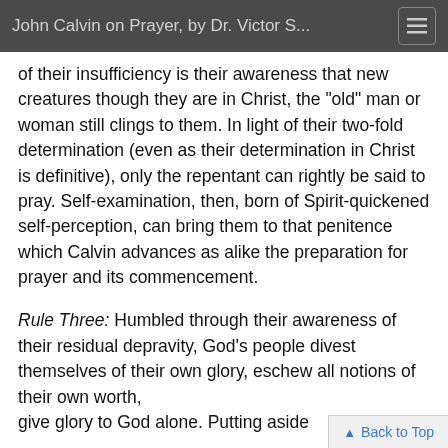John Calvin on Prayer, by Dr. Victor S...
of their insufficiency is their awareness that new creatures though they are in Christ, the "old" man or woman still clings to them. In light of their two-fold determination (even as their determination in Christ is definitive), only the repentant can rightly be said to pray. Self-examination, then, born of Spirit-quickened self-perception, can bring them to that penitence which Calvin advances as alike the preparation for prayer and its commencement.
Rule Three: Humbled through their awareness of their residual depravity, God's people divest themselves of their own glory, eschew all notions of their own worth, give glory to God alone. Putting aside ...